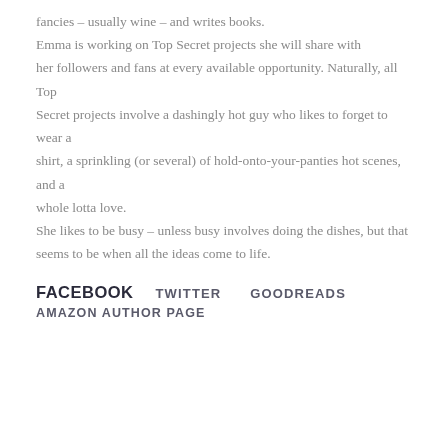fancies – usually wine – and writes books. Emma is working on Top Secret projects she will share with her followers and fans at every available opportunity. Naturally, all Top Secret projects involve a dashingly hot guy who likes to forget to wear a shirt, a sprinkling (or several) of hold-onto-your-panties hot scenes, and a whole lotta love. She likes to be busy – unless busy involves doing the dishes, but that seems to be when all the ideas come to life.
FACEBOOK   TWITTER   GOODREADS   AMAZON AUTHOR PAGE